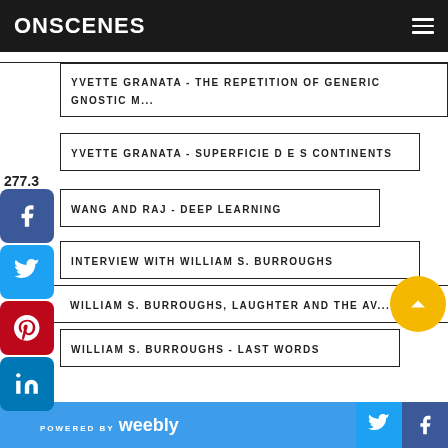ONSCENES
YVETTE GRANATA - THE REPETITION OF GENERIC GNOSTIC M...
YVETTE GRANATA - SUPERFICIE D E S CONTINENTS
277.3
WANG AND RAJ - DEEP LEARNING
INTERVIEW WITH WILLIAM S. BURROUGHS
WILLIAM S. BURROUGHS, LAUGHTER AND THE AVANT-GARDE
WILLIAM S. BURROUGHS - LAST WORDS
POWERED BY weebly